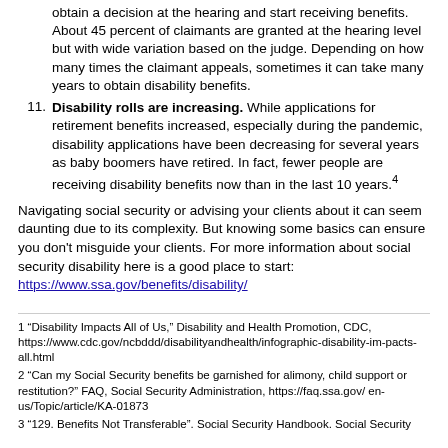obtain a decision at the hearing and start receiving benefits. About 45 percent of claimants are granted at the hearing level but with wide variation based on the judge. Depending on how many times the claimant appeals, sometimes it can take many years to obtain disability benefits.
11. Disability rolls are increasing. While applications for retirement benefits increased, especially during the pandemic, disability applications have been decreasing for several years as baby boomers have retired. In fact, fewer people are receiving disability benefits now than in the last 10 years.4
Navigating social security or advising your clients about it can seem daunting due to its complexity. But knowing some basics can ensure you don't misguide your clients. For more information about social security disability here is a good place to start: https://www.ssa.gov/benefits/disability/
1 “Disability Impacts All of Us,” Disability and Health Promotion, CDC, https://www.cdc.gov/ncbddd/disabilityandhealth/infographic-disability-impacts-all.html
2 “Can my Social Security benefits be garnished for alimony, child support or restitution?” FAQ, Social Security Administration, https://faq.ssa.gov/ en-us/Topic/article/KA-01873
3 “129. Benefits Not Transferable”. Social Security Handbook. Social Security